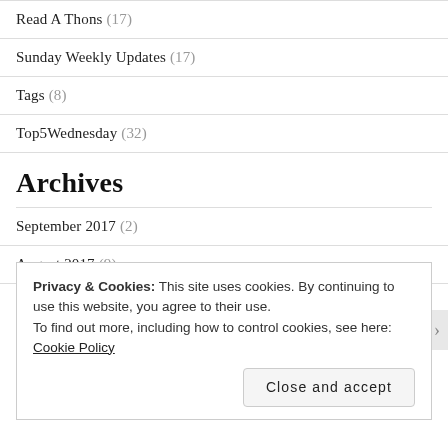Read A Thons (17)
Sunday Weekly Updates (17)
Tags (8)
Top5Wednesday (32)
Archives
September 2017 (2)
August 2017 (9)
Privacy & Cookies: This site uses cookies. By continuing to use this website, you agree to their use.
To find out more, including how to control cookies, see here: Cookie Policy
Close and accept